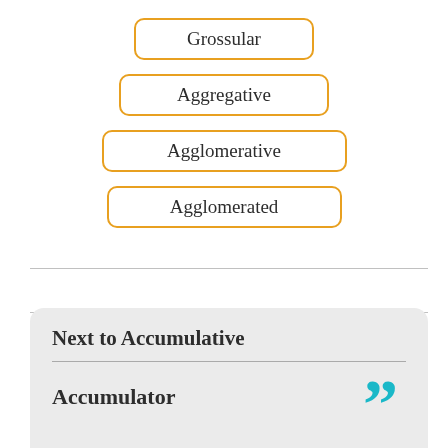Grossular
Aggregative
Agglomerative
Agglomerated
Next to Accumulative
Accumulator